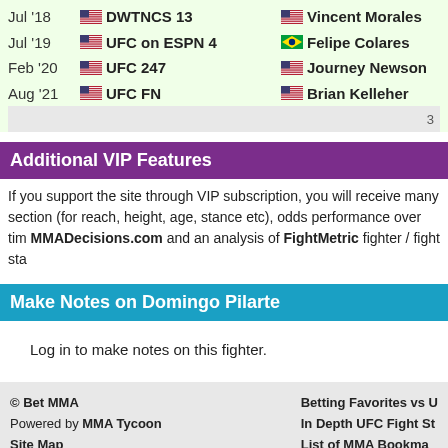| Date | Event | Opponent |
| --- | --- | --- |
| Jul '18 | DWTNCS 13 | Vincent Morales |
| Jul '19 | UFC on ESPN 4 | Felipe Colares |
| Feb '20 | UFC 247 | Journey Newson |
| Aug '21 | UFC FN | Brian Kelleher |
Additional VIP Features
If you support the site through VIP subscription, you will receive many section (for reach, height, age, stance etc), odds performance over time, MMADecisions.com and an analysis of FightMetric fighter / fight stats.
Make Notes on Domingo Pilarte
Log in to make notes on this fighter.
© Bet MMA Powered by MMA Tycoon Site Map Homepage Free UFC Betting Tips MMA Betting Blog | Betting Favorites vs U In Depth UFC Fight St List of MMA Bookma Best MMA Tipsters Next UFC Event